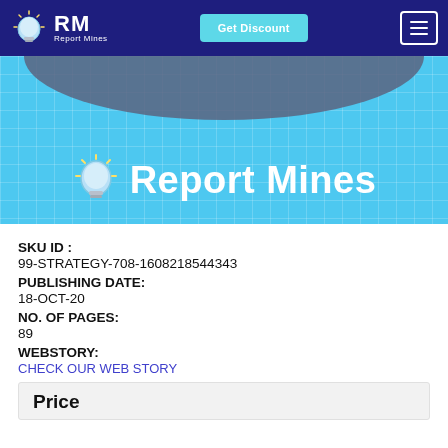RM Report Mines | Get Discount | Menu
[Figure (illustration): Report Mines banner with light bulb logo and blue background with grid pattern and dark arch at top]
SKU ID :
99-STRATEGY-708-1608218544343
PUBLISHING DATE:
18-OCT-20
NO. OF PAGES:
89
WEBSTORY:
CHECK OUR WEB STORY
Price